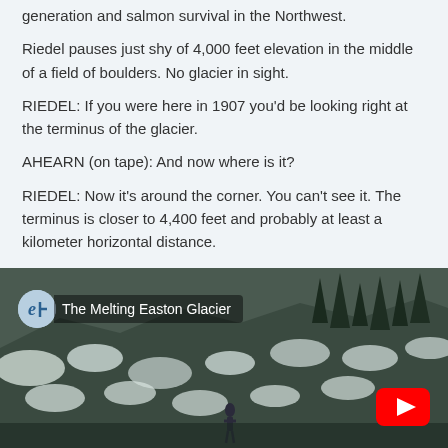generation and salmon survival in the Northwest.
Riedel pauses just shy of 4,000 feet elevation in the middle of a field of boulders. No glacier in sight.
RIEDEL: If you were here in 1907 you'd be looking right at the terminus of the glacier.
AHEARN (on tape): And now where is it?
RIEDEL: Now it's around the corner. You can't see it. The terminus is closer to 4,400 feet and probably at least a kilometer horizontal distance.
[Figure (photo): YouTube video thumbnail for 'The Melting Easton Glacier' showing a snow-covered rocky hillside with evergreen trees and a person standing in the distance. A channel badge with the letter 'e' icon and the video title are shown in the upper left. A YouTube play button is visible in the lower right.]